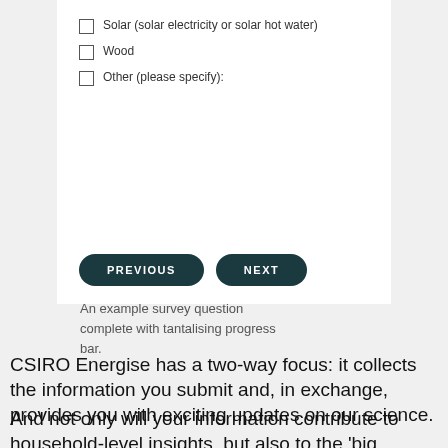[Figure (screenshot): Survey form fragment showing three checkbox options (Solar, Wood, Other), a text area, and Previous/Next navigation buttons on a white panel]
An example survey question complete with tantalising progress bar.
CSIRO Energise has a two-way focus: it collects the information you submit and, in exchange, provides you with exciting updates on our science.
And not only will your information contribute to household-level insights, but also to the 'big picture'